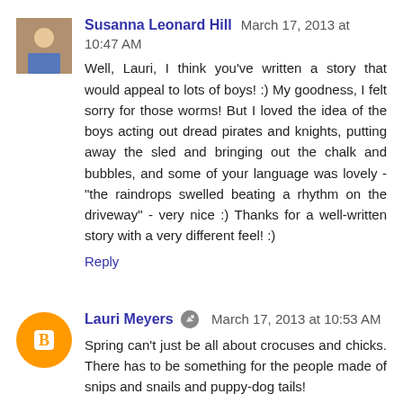Susanna Leonard Hill  March 17, 2013 at 10:47 AM
Well, Lauri, I think you've written a story that would appeal to lots of boys! :) My goodness, I felt sorry for those worms! But I loved the idea of the boys acting out dread pirates and knights, putting away the sled and bringing out the chalk and bubbles, and some of your language was lovely - "the raindrops swelled beating a rhythm on the driveway" - very nice :) Thanks for a well-written story with a very different feel! :)
Reply
Lauri Meyers  March 17, 2013 at 10:53 AM
Spring can't just be all about crocuses and chicks. There has to be something for the people made of snips and snails and puppy-dog tails!
Reply
Julie Rowan-Zoch  March 17, 2013 at 11:49 AM